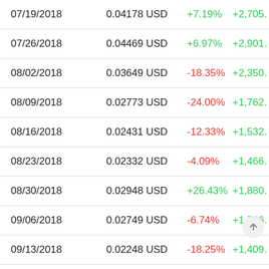| Date | Price | Change % | Value |
| --- | --- | --- | --- |
| 07/19/2018 | 0.04178 USD | +7.19% | +2,705. |
| 07/26/2018 | 0.04469 USD | +6.97% | +2,901. |
| 08/02/2018 | 0.03649 USD | -18.35% | +2,350. |
| 08/09/2018 | 0.02773 USD | -24.00% | +1,762. |
| 08/16/2018 | 0.02431 USD | -12.33% | +1,532. |
| 08/23/2018 | 0.02332 USD | -4.09% | +1,466. |
| 08/30/2018 | 0.02948 USD | +26.43% | +1,880. |
| 09/06/2018 | 0.02749 USD | -6.74% | +1,746. |
| 09/13/2018 | 0.02248 USD | -18.25% | +1,409. |